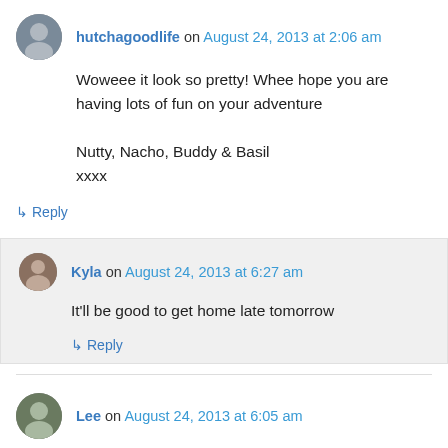hutchagoodlife on August 24, 2013 at 2:06 am
Woweee it look so pretty! Whee hope you are having lots of fun on your adventure

Nutty, Nacho, Buddy & Basil
xxxx
↳ Reply
Kyla on August 24, 2013 at 6:27 am
It'll be good to get home late tomorrow
↳ Reply
Lee on August 24, 2013 at 6:05 am